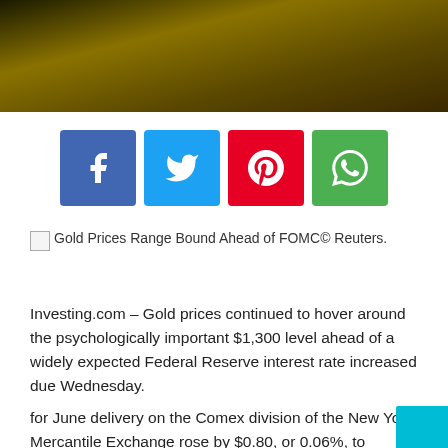[Figure (photo): Dark gold bar/bullion photo used as article header image]
[Figure (infographic): Social media share buttons: Facebook (blue), Twitter (cyan), Pinterest (red), WhatsApp (green)]
Gold Prices Range Bound Ahead of FOMC© Reuters.
Investing.com – Gold prices continued to hover around the psychologically important $1,300 level ahead of a widely expected Federal Reserve interest rate increased due Wednesday.
for June delivery on the Comex division of the New York Mercantile Exchange rose by $0.80, or 0.06%, to $1,303.50 a